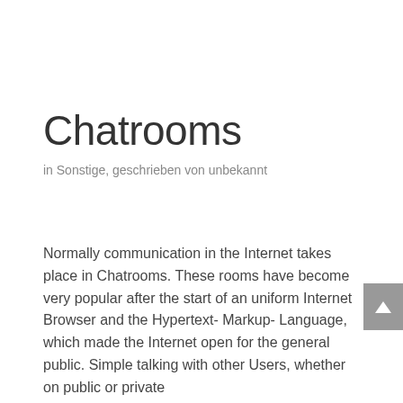Chatrooms
in Sonstige, geschrieben von unbekannt
Normally communication in the Internet takes place in Chatrooms. These rooms have become very popular after the start of an uniform Internet Browser and the Hypertext- Markup- Language, which made the Internet open for the general public. Simple talking with other Users, whether on public or private